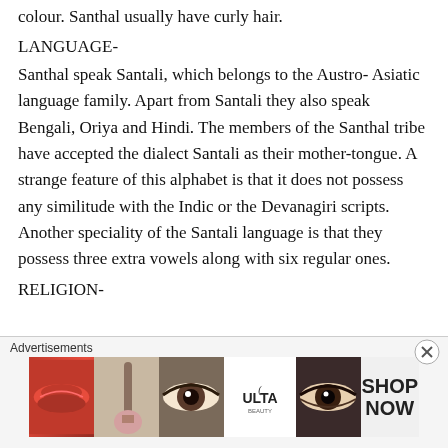colour. Santhal usually have curly hair.
LANGUAGE-
Santhal speak Santali, which belongs to the Austro- Asiatic language family. Apart from Santali they also speak Bengali, Oriya and Hindi. The members of the Santhal tribe have accepted the dialect Santali as their mother-tongue. A strange feature of this alphabet is that it does not possess any similitude with the Indic or the Devanagiri scripts. Another speciality of the Santali language is that they possess three extra vowels along with six regular ones.
RELIGION-
[Figure (other): Advertisement banner for ULTA beauty showing cosmetic imagery with 'SHOP NOW' text. Contains images of lips with makeup, makeup brush, eye with makeup, ULTA logo, and eye close-up.]